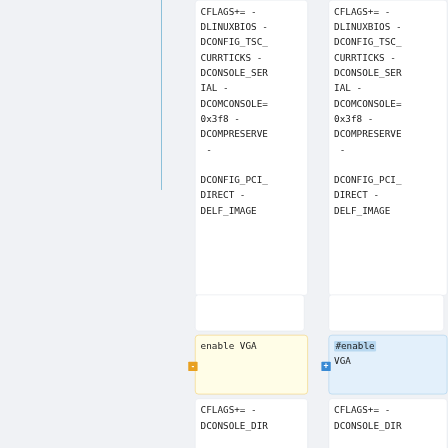[Figure (screenshot): A diff/comparison view showing two columns of code cells. Left column shows original code with monospace text blocks containing compiler flags (CFLAGS+=, DLINUXBIOS, DCONFIG_TSC_CURRTICKS, DCONSOLE_SERIAL, DCOMCONSOLE=0x3f8, DCOMPRESERVE, DCONFIG_PCI_DIRECT, DELF_IMAGE), an empty cell, a yellow-highlighted cell with 'enable VGA', and another code cell starting with CFLAGS+= -DCONSOLE_DIR. Right column mirrors this with a blue-highlighted cell containing '#enable VGA' instead. Minus marker on left yellow cell, plus marker on right blue cell.]